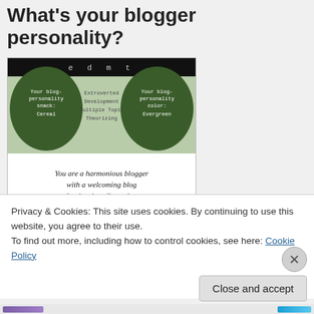What's your blogger personality?
[Figure (infographic): Blogger personality type badge with dark green blobs on sides, light green center, showing 'edmt' at top, left column: 'Your blog-personality snack: Cereal', center: 'Extroverted Development Multiple Topic Theorizing', right: 'Your blog-personality color: Evergreen', bottom text: 'You are a harmonious blogger with a welcoming blog that inspires discussion.' Footer: 'RA-SON BLOGGER TYPE INDICATOR nurusaur.wordpress.com']
Privacy & Cookies: This site uses cookies. By continuing to use this website, you agree to their use.
To find out more, including how to control cookies, see here: Cookie Policy
Close and accept